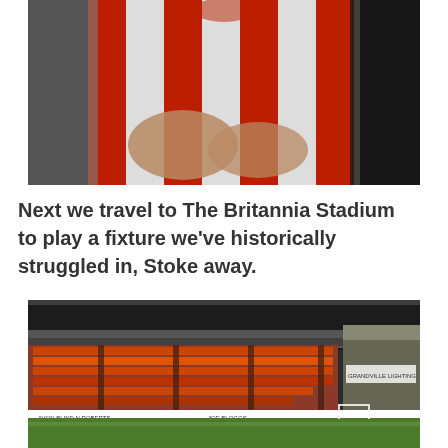[Figure (photo): Photo of a footballer wearing a red and white striped jersey with arms crossed, cropped to show torso only]
Next we travel to The Britannia Stadium to play a fixture we've historically struggled in, Stoke away.
[Figure (photo): Photo of a football stadium interior showing orange/red seating stands, a pitch with green grass, and advertising boards along the perimeter including text 'AVON BLIND N ROBERTS' and 'JOE BLOGGS']